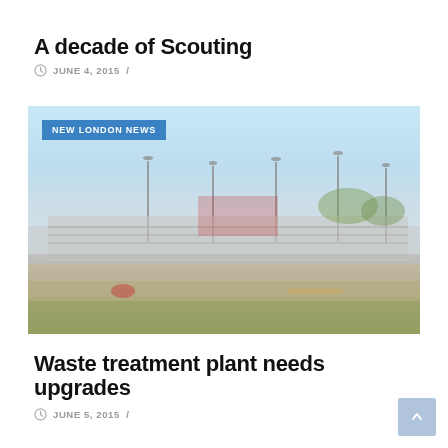A decade of Scouting
JUNE 4, 2015  /
[Figure (photo): Outdoor sports stadium or fairground with bleachers, light poles, and grassy area in foreground. Blue sky background. Badge overlay reads 'NEW LONDON NEWS'.]
Waste treatment plant needs upgrades
JUNE 5, 2015  /